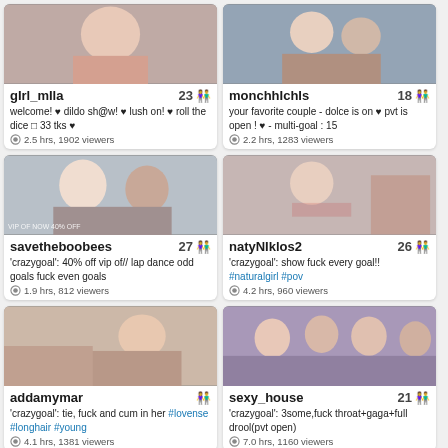[Figure (photo): Thumbnail photo for girl_mila stream]
gIrl_mIla 23
welcome! ♥ dildo sh@w! ♥ lush on! ♥ roll the dice □ 33 tks ♥
2.5 hrs, 1902 viewers
[Figure (photo): Thumbnail photo for monchhIchIs stream]
monchhIchIs 18
your favorite couple - dolce is on ♥ pvt is open ! ♥ - multi-goal : 15
2.2 hrs, 1283 viewers
[Figure (photo): Thumbnail photo for savetheboobees stream]
savetheboobees 27
'crazygoal': 40% off vip of// lap dance odd goals fuck even goals
1.9 hrs, 812 viewers
[Figure (photo): Thumbnail photo for natyniklos2 stream]
natyNIklos2 26
'crazygoal': show fuck every goal!! #naturalgirl #pov
4.2 hrs, 960 viewers
[Figure (photo): Thumbnail photo for addamymar stream]
addamymar
'crazygoal': tie, fuck and cum in her #lovense #longhair #young
4.1 hrs, 1381 viewers
[Figure (photo): Thumbnail photo for sexy_house stream]
sexy_house 21
'crazygoal': 3some,fuck throat+gaga+full drool(pvt open)
7.0 hrs, 1160 viewers